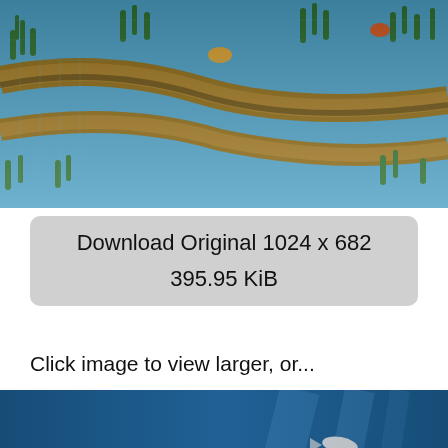[Figure (photo): Top-down aerial view of a LEGO model featuring blue baseplate with green seaweed/plants, curved track or path made of brown LEGO bricks, some orange/yellow fish pieces]
Download Original 1024 x 682
395.95 KiB
Click image to view larger, or...
[Figure (photo): LEGO aquarium/underwater scene with colorful fish models including clownfish (orange and white), various coral and sea plants in red, yellow, teal colors, against a blue aquarium background with real fish visible]